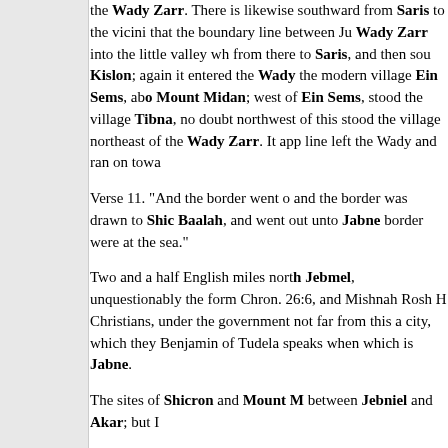the Wady Zarr. There is likewise southward from Saris to the vicini that the boundary line between Ju Wady Zarr into the little valley wh from there to Saris, and then sou Kislon; again it entered the Wady the modern village Ein Sems, ab Mount Midan; west of Ein Sems, stood the village Tibna, no doubt northwest of this stood the village northeast of the Wady Zarr. It app line left the Wady and ran on towa
Verse 11. "And the border went o and the border was drawn to Shic Baalah, and went out unto Jabne border were at the sea."
Two and a half English miles nort Jebmel, unquestionably the form Chron. 26:6, and Mishnah Rosh H Christians, under the government not far from this a city, which they Benjamin of Tudela speaks when which is Jabne.
The sites of Shicron and Mount between Jebniel and Akar; but I
Jebniel is situated properly speak Arabs call it there no more by that